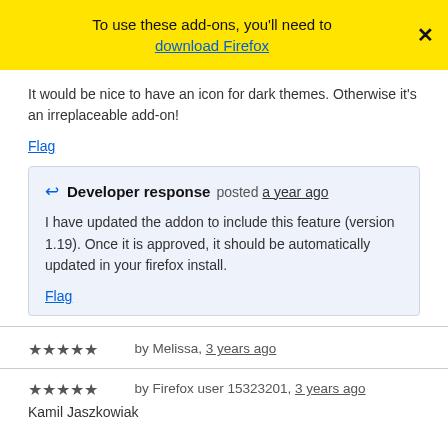To use these add-ons, you'll need to download Firefox
It would be nice to have an icon for dark themes. Otherwise it's an irreplaceable add-on!
Flag
Developer response posted a year ago
I have updated the addon to include this feature (version 1.19). Once it is approved, it should be automatically updated in your firefox install.
Flag
★★★★★ by Melissa, 3 years ago
★★★★★ by Firefox user 15323201, 3 years ago
Kamil Jaszkowiak